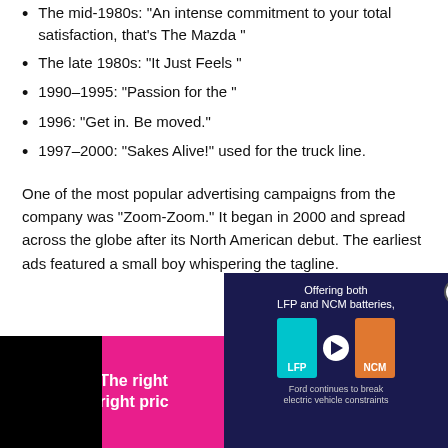The mid-1980s: “An intense commitment to your total satisfaction, that’s The Mazda”
The late 1980s: “It Just Feels”
1990–1995: “Passion for the”
1996: “Get in. Be moved.”
1997–2000: “Sakes Alive!” used for the truck line.
One of the most popular advertising campaigns from the company was “Zoom-Zoom.” It began in 2000 and spread across the globe after its North American debut. The earliest ads featured a small boy whispering the tagline.
Since 2011, the company used the same Zoom-Zoom tagline in their other campaign.
[Figure (infographic): eBay Motors advertisement in pink/magenta with text 'The right [car at the] right pric[e]']
[Figure (infographic): Dark blue ad for Ford electric vehicle batteries showing LFP and NCM battery types with text 'Offering both LFP and NCM batteries,' and 'Ford continues to break electric vehicle constraints']